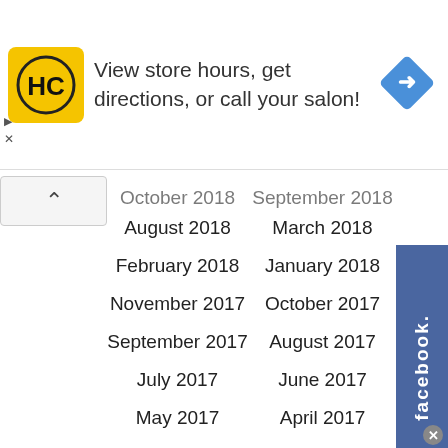[Figure (screenshot): Advertisement banner: HC logo (yellow circle with HC text), 'View store hours, get directions, or call your salon!' text, and a blue diamond directions icon]
October 2018
September 2018
August 2018
March 2018
February 2018
January 2018
November 2017
October 2017
September 2017
August 2017
July 2017
June 2017
May 2017
April 2017
March 2017
February 2017
January 2017
December 2016
November 2016
October 2016
September 2016
August 2016
July 2016
June 2016